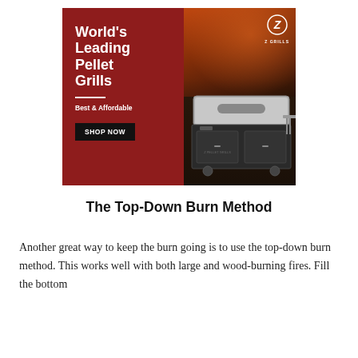[Figure (illustration): Z Grills advertisement banner showing a pellet grill with text 'World's Leading Pellet Grills', 'Best & Affordable', and a 'SHOP NOW' button on a dark red left panel, with a photo of food being basted and a pellet grill on the right side. Z Grills logo in top right corner.]
The Top-Down Burn Method
Another great way to keep the burn going is to use the top-down burn method. This works well with both large and wood-burning fires. Fill the bottom...